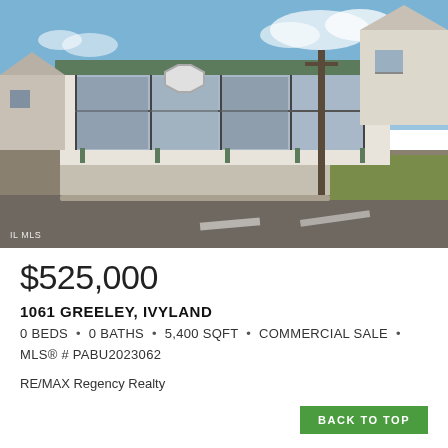[Figure (photo): Exterior photo of a commercial property at 1061 Greeley, Ivyland. A wide storefront building with large glass windows, a stop sign visible on the left, utility pole on the right, sidewalk and road in foreground, blue sky with some clouds. Watermark 'IL MLS' in bottom-left corner.]
$525,000
1061 GREELEY, IVYLAND
0 BEDS • 0 BATHS • 5,400 SQFT • COMMERCIAL SALE • MLS® # PABU2023062
RE/MAX Regency Realty
BACK TO TOP